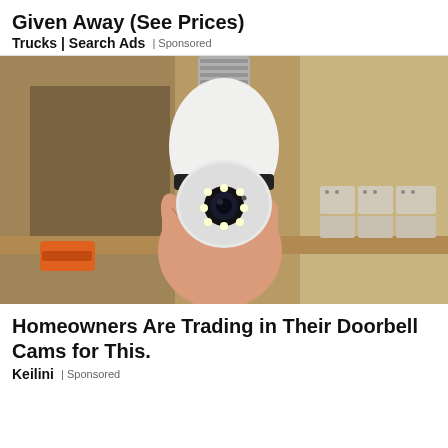Given Away (See Prices)
Trucks | Search Ads | Sponsored
[Figure (photo): A hand holding a white light bulb-shaped security camera with a black rotating dome and LED ring, with a drill visible in the background and electrical components on the right, set in a wooden shelf environment.]
Homeowners Are Trading in Their Doorbell Cams for This.
Keilini | Sponsored